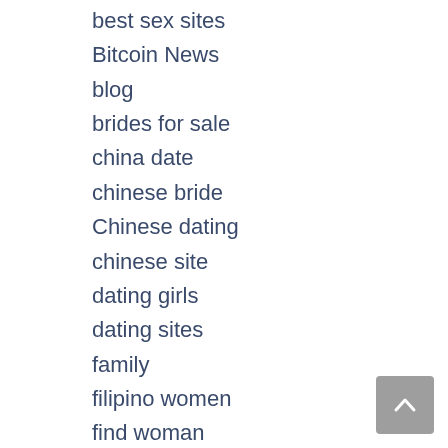best sex sites
Bitcoin News
blog
brides for sale
china date
chinese bride
Chinese dating
chinese site
dating girls
dating sites
family
filipino women
find woman
First Date Compliments
Foreign Brides